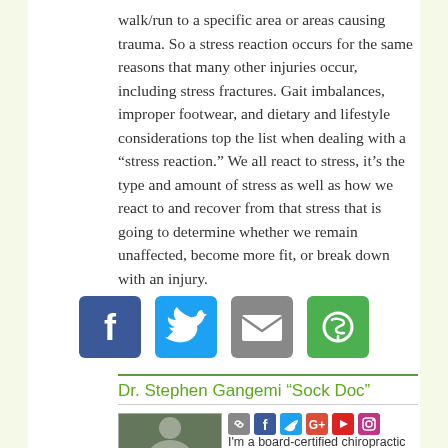walk/run to a specific area or areas causing trauma. So a stress reaction occurs for the same reasons that many other injuries occur, including stress fractures. Gait imbalances, improper footwear, and dietary and lifestyle considerations top the list when dealing with a “stress reaction.” We all react to stress, it’s the type and amount of stress as well as how we react to and recover from that stress that is going to determine whether we remain unaffected, become more fit, or break down with an injury.
[Figure (other): Social sharing icons: Facebook (blue), Twitter (light blue), Email (gray), and another icon (green)]
Dr. Stephen Gangemi "Sock Doc"
[Figure (photo): Photo of Dr. Stephen Gangemi outdoors]
[Figure (other): Small social media icons: link, Facebook, Twitter, Google+, YouTube, Instagram]
I'm a board-certified chiropractic physician and clinical nutritionist with